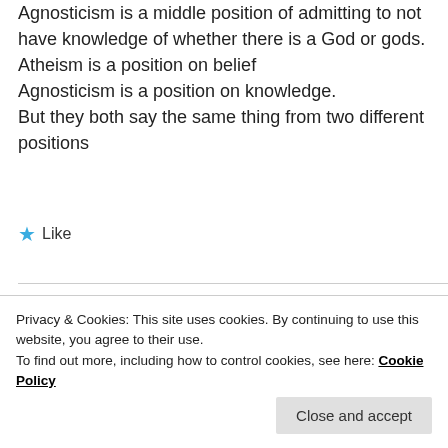Agnosticism is a middle position of admitting to not have knowledge of whether there is a God or gods.
Atheism is a position on belief
Agnosticism is a position on knowledge.
But they both say the same thing from two different positions
★ Like
[Figure (photo): Circular avatar photo of a man (Carey Bryant)]
Carey Bryant
Privacy & Cookies: This site uses cookies. By continuing to use this website, you agree to their use.
To find out more, including how to control cookies, see here: Cookie Policy
Close and accept
conversation since you are attacking my